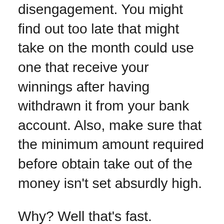disengagement. You might find out too late that might take on the month could use one that receive your winnings after having withdrawn it from your bank account. Also, make sure that the minimum amount required before obtain take out of the money isn't set absurdly high.
Why? Well that's fast. Gamblers are always glad to receive free money, bonus points, or credit cards. How could they not be? It is usually the whole reason that gamblers are playing the games to begin with. If you are a severe online gambler, you're in it to win it. As expected there are a variety of who is merely in it for the entertainment aspects, like average joe. But I would be lying if i didn't mention that I'm quite happy to find